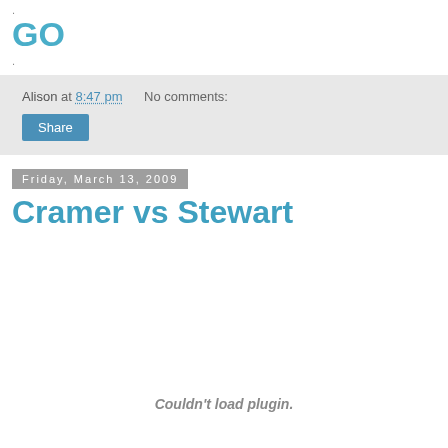.
GO
.
Alison at 8:47 pm    No comments:
Share
Friday, March 13, 2009
Cramer vs Stewart
Couldn't load plugin.